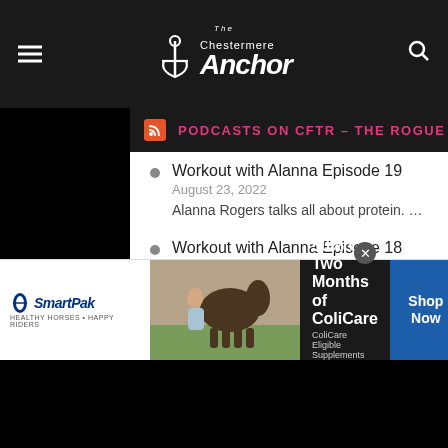The Chestermere Anchor
PODCASTS ON CFTR – THE ROGUE
Workout with Alanna Episode 19
August 23, 2022
Alanna Rogers talks all about protein. ...
Workout with Alanna Episode 18
August 16, 2022
Alanna Rogers talks about post partum exercise. ...
Workout with Alanna Episode 17
August 9, 2022
Alanna Rogers discussses pregnancy and exercise. ...
[Figure (infographic): SmartPak advertisement banner: 50% Off Two Months of ColiCare, ColiCare Eligible Supplements, CODE: COLICARE10, with Shop Now button. Features SmartPak logo, image of horse and person, dark background.]